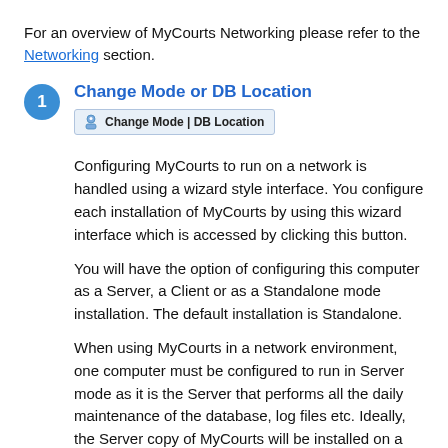For an overview of MyCourts Networking please refer to the Networking section.
1 Change Mode or DB Location
[Figure (screenshot): Button labeled 'Change Mode | DB Location' with a small icon]
Configuring MyCourts to run on a network is handled using a wizard style interface. You configure each installation of MyCourts by using this wizard interface which is accessed by clicking this button.
You will have the option of configuring this computer as a Server, a Client or as a Standalone mode installation. The default installation is Standalone.
When using MyCourts in a network environment, one computer must be configured to run in Server mode as it is the Server that performs all the daily maintenance of the database, log files etc. Ideally, the Server copy of MyCourts will be installed on a machine that runs 24/7. All other copies of MyCourts running on other machines must be